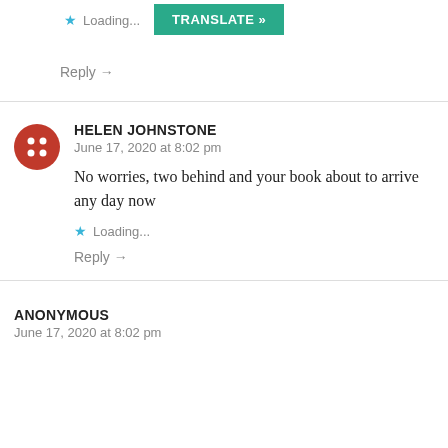[Figure (other): Star icon (loading) and TRANSLATE button]
Reply →
[Figure (other): Red circle avatar with grid/dots icon for Helen Johnstone]
HELEN JOHNSTONE
June 17, 2020 at 8:02 pm
No worries, two behind and your book about to arrive any day now
Loading...
Reply →
ANONYMOUS
June 17, 2020 at 8:02 pm